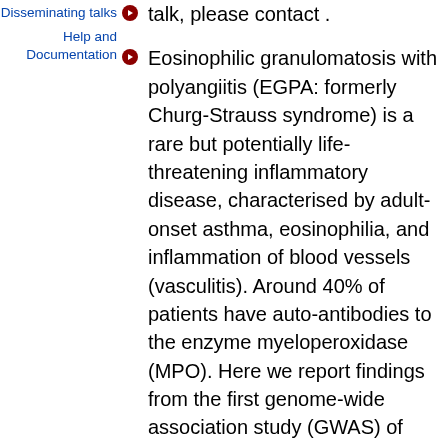Disseminating talks
Help and Documentation
talk, please contact .
Eosinophilic granulomatosis with polyangiitis (EGPA: formerly Churg-Strauss syndrome) is a rare but potentially life-threatening inflammatory disease, characterised by adult-onset asthma, eosinophilia, and inflammation of blood vessels (vasculitis). Around 40% of patients have auto-antibodies to the enzyme myeloperoxidase (MPO). Here we report findings from the first genome-wide association study (GWAS) of EGPA , performed through the European Vasculitis Genetics Consortium. We identified 11 genetic loci associated with susceptibility to EGPA . Many of these were also risk loci for asthma or other eosinophilic or immune-mediated diseases and, strikingly, nine were associated with blood eosinophil count in the general population. One genetic association (HLA-DQ) was specific to the